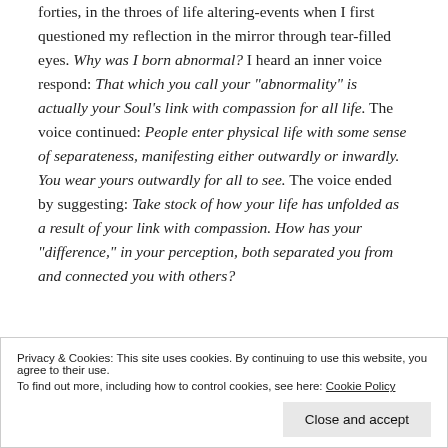forties, in the throes of life altering-events when I first questioned my reflection in the mirror through tear-filled eyes. Why was I born abnormal? I heard an inner voice respond: That which you call your "abnormality" is actually your Soul's link with compassion for all life. The voice continued: People enter physical life with some sense of separateness, manifesting either outwardly or inwardly. You wear yours outwardly for all to see. The voice ended by suggesting: Take stock of how your life has unfolded as a result of your link with compassion. How has your "difference," in your perception, both separated you from and connected you with others?
Privacy & Cookies: This site uses cookies. By continuing to use this website, you agree to their use.
To find out more, including how to control cookies, see here: Cookie Policy
pursuits. Like a pit-bull I competed to prove my value